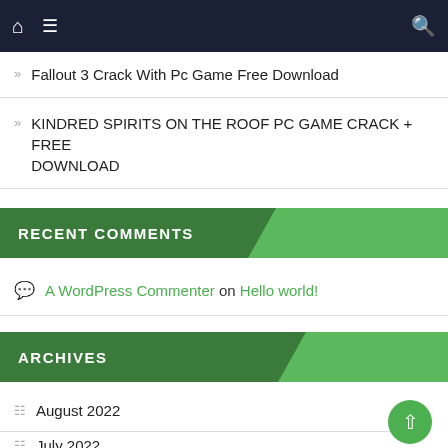Navigation bar with home, menu, and search icons
Fallout 3 Crack With Pc Game Free Download
KINDRED SPIRITS ON THE ROOF PC GAME CRACK + FREE DOWNLOAD
RECENT COMMENTS
A WordPress Commenter on Hello world!
ARCHIVES
August 2022
July 2022